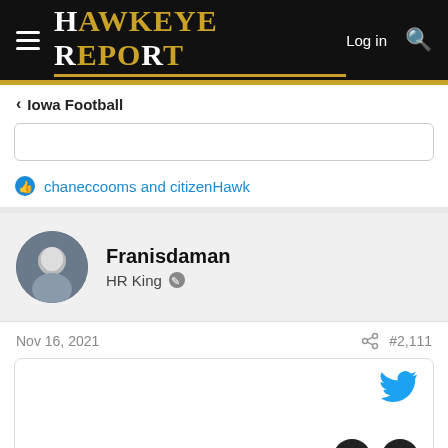Hawkeye Report — Log in
Iowa Football
chaneccooms and citizenHawk
Franisdaman
HR King
Nov 16, 2021  #2,111
[Figure (screenshot): Embedded tweet card with Twitter bird icon]